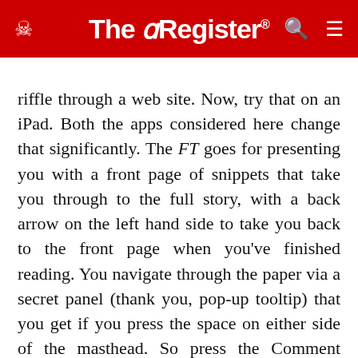The Register
riffle through a web site. Now, try that on an iPad. Both the apps considered here change that significantly. The FT goes for presenting you with a front page of snippets that take you through to the full story, with a back arrow on the left hand side to take you back to the front page when you've finished reading. You navigate through the paper via a secret panel (thank you, pop-up tooltip) that you get if you press the space on either side of the masthead. So press the Comment button and you get through to the op-ed spread. It's maybe worth noting that this has a list of columnists on the left hand side, but that they're not live links.
So, if I click on Wolfgang Munchau, it doesn't do